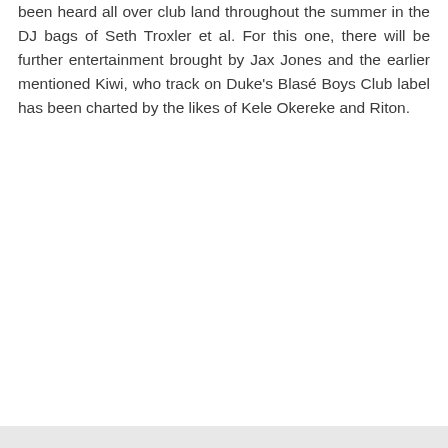been heard all over club land throughout the summer in the DJ bags of Seth Troxler et al. For this one, there will be further entertainment brought by Jax Jones and the earlier mentioned Kiwi, who track on Duke's Blasé Boys Club label has been charted by the likes of Kele Okereke and Riton.